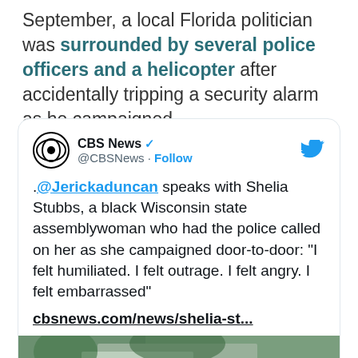September, a local Florida politician was surrounded by several police officers and a helicopter after accidentally tripping a security alarm as he campaigned.
[Figure (screenshot): Embedded tweet from CBS News (@CBSNews) with verified badge and Follow button. Tweet text: '.@Jerickaduncan speaks with Shelia Stubbs, a black Wisconsin state assemblywoman who had the police called on her as she campaigned door-to-door: "I felt humiliated. I felt outrage. I felt angry. I felt embarrassed" cbsnews.com/news/shelia-st...' with a preview image showing a tent/tarp outdoors and a 'Watch on Twitter' button.]